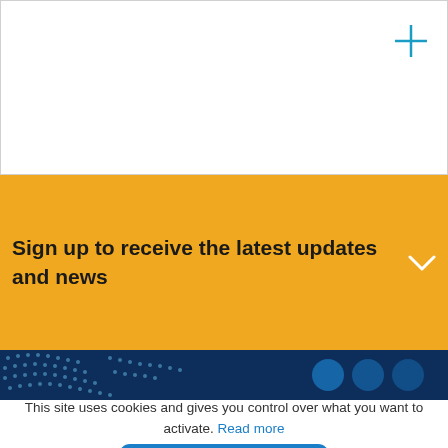[Figure (screenshot): White box section at top of page with a teal/blue plus (+) icon in the upper right corner]
Sign up to receive the latest updates and news
[Figure (screenshot): Dark navy bar with dotted globe/sphere pattern on the left side]
This site uses cookies and gives you control over what you want to activate. Read more
OK, accept all
Refuse all
Personalize